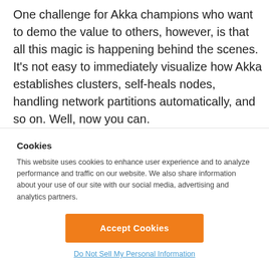One challenge for Akka champions who want to demo the value to others, however, is that all this magic is happening behind the scenes. It's not easy to immediately visualize how Akka establishes clusters, self-heals nodes, handling network partitions automatically, and so on. Well, now you can.
In this webinar by Lightbend's Eric Loots, Scala & Tooling Practice Lead, and Kikia Carter, Principal Enterprise Architect,
Cookies
This website uses cookies to enhance user experience and to analyze performance and traffic on our website. We also share information about your use of our site with our social media, advertising and analytics partners.
Accept Cookies
Do Not Sell My Personal Information